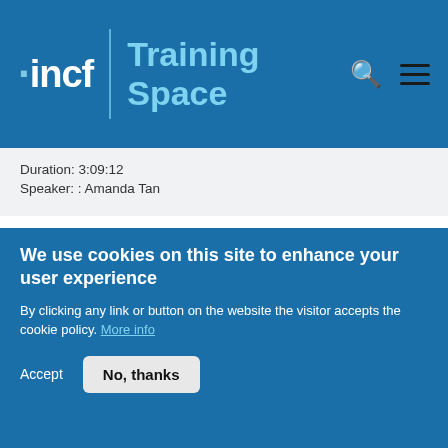incf | Training Space
Duration: 3:09:12
Speaker: : Amanda Tan
TOPICS
We use cookies on this site to enhance your user experience
By clicking any link or button on the website the visitor accepts the cookie policy. More info
Accept  No, thanks